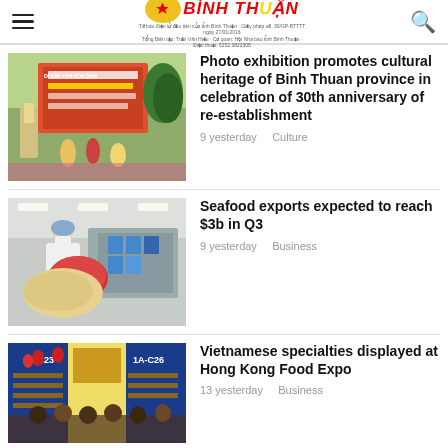Binh Thuan Online
Photo exhibition promotes cultural heritage of Binh Thuan province in celebration of 30th anniversary of re-establishment
9 yesterday    Culture
Seafood exports expected to reach $3b in Q3
9 yesterday    Business
Vietnamese specialties displayed at Hong Kong Food Expo
13 yesterday    Business